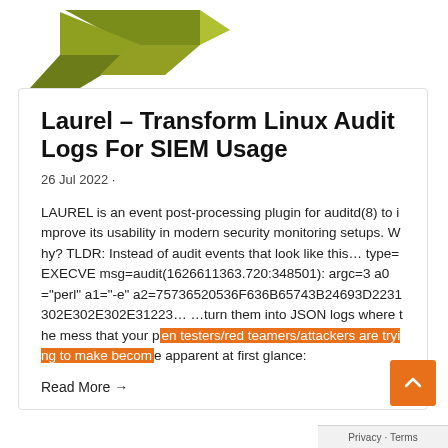[Figure (logo): Green origami arrow logo in upper left]
Laurel – Transform Linux Audit Logs For SIEM Usage
26 Jul 2022 ·
LAUREL is an event post-processing plugin for auditd(8) to improve its usability in modern security monitoring setups. Why? TLDR: Instead of audit events that look like this… type=EXECVE msg=audit(1626611363.720:348501): argc=3 a0="perl" a1="-e" a2=75736520536F636B65743B24693D2231302E302E302E31223… …turn them into JSON logs where the mess that your pen testers/red teamers/attackers are trying to make become apparent at first glance:
Read More →